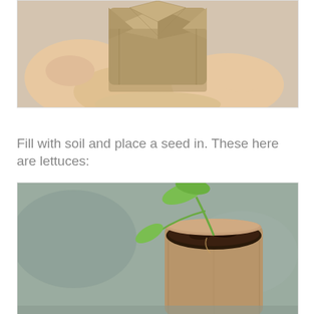[Figure (photo): Close-up photo of hands holding a small cardboard/paper tube pot with folded bottom, beige/tan color against a light background]
Fill with soil and place a seed in. These here are lettuces:
[Figure (photo): Photo of a small seedling (lettuce) with green leaves sprouting from a cardboard tube pot filled with dark soil, on a grey surface]